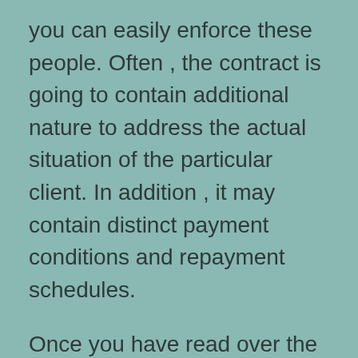you can easily enforce these people. Often , the contract is going to contain additional nature to address the actual situation of the particular client. In addition , it may contain distinct payment conditions and repayment schedules.
Once you have read over the contract, be more successful to understand the rights and responsibilities. The agreements should be spelled out, and they need to be included in all of the agreement. In most cases, there is also a clause describing what the contract entails. You should ensure that the terms and